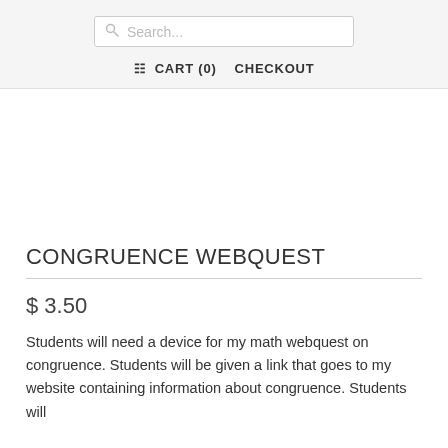Search... CART (0) CHECKOUT
CONGRUENCE WEBQUEST
$ 3.50
Students will need a device for my math webquest on congruence. Students will be given a link that goes to my website containing information about congruence. Students will